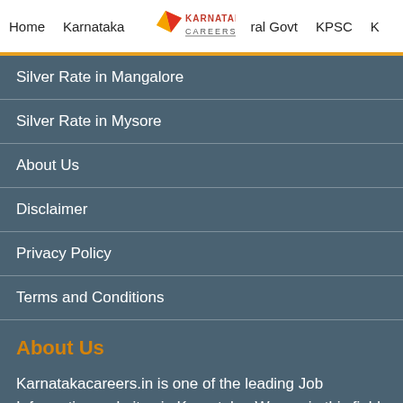Home  Karnataka  Karnataka Careers  ral Govt  KPSC  K
Silver Rate in Mangalore
Silver Rate in Mysore
About Us
Disclaimer
Privacy Policy
Terms and Conditions
About Us
Karnatakacareers.in is one of the leading Job Information websites in Karnataka. We are in this field since 2013 and We started one dedicated website for Kannadigas. We started Karnatakacareers.in in 2018 to help the Freshers like 12th pass, Diploma holders, and